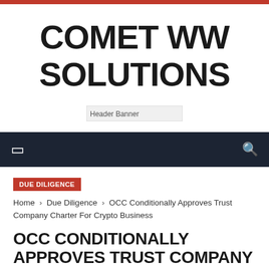COMET WW SOLUTIONS
[Figure (other): Header Banner image placeholder]
DUE DILIGENCE
Home › Due Diligence › OCC Conditionally Approves Trust Company Charter For Crypto Business
OCC CONDITIONALLY APPROVES TRUST COMPANY CHARTER FOR